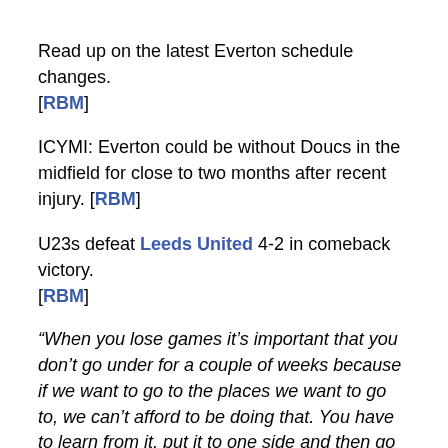Read up on the latest Everton schedule changes. [RBM]
ICYMI: Everton could be without Doucs in the midfield for close to two months after recent injury. [RBM]
U23s defeat Leeds United 4-2 in comeback victory. [RBM]
“When you lose games it’s important that you don’t go under for a couple of weeks because if we want to go to the places we want to go to, we can’t afford to be doing that. You have to learn from it, put it to one side and then go again. We’ve got big ambitions. Everyone here has - from the fans to the players and staff. That’s the mentality we have to have,” says Ben Godfrey.